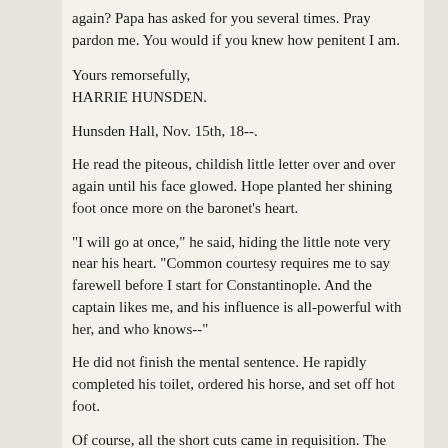again? Papa has asked for you several times. Pray pardon me. You would if you knew how penitent I am.
Yours remorsefully,
HARRIE HUNSDEN.
Hunsden Hall, Nov. 15th, 18--.
He read the piteous, childish little letter over and over again until his face glowed. Hope planted her shining foot once more on the baronet's heart.
"I will go at once," he said, hiding the little note very near his heart. "Common courtesy requires me to say farewell before I start for Constantinople. And the captain likes me, and his influence is all-powerful with her, and who knows--"
He did not finish the mental sentence. He rapidly completed his toilet, ordered his horse, and set off hot foot.
Of course, all the short cuts came in requisition. The path through Brithlow Wood was the path he took, going at full gallop. Lost in a deliciously hopeful reverie, he was half-way through, when a hollow groan from the wayside smote his ear.
"For God's sake, help a dying man!"
The baronet stared around aghast. Right before him, under the trees, lay the prostrate figure of a fallen man. To leap off his horse, to bend over him, was but the work of an instant. Judge of his dismay when he beheld the livid, discolored face of Captain